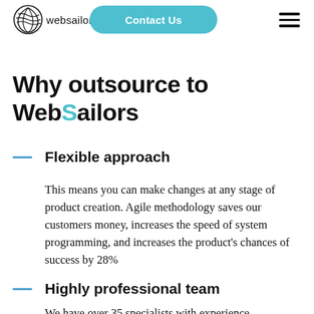websailors | Contact Us
Why outsource to WebSailors
Flexible approach
This means you can make changes at any stage of product creation. Agile methodology saves our customers money, increases the speed of system programming, and increases the product's chances of success by 28%
Highly professional team
We have over 35 specialists with experience